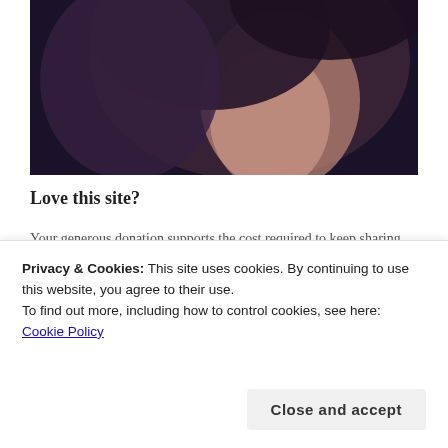[Figure (photo): Partial photo of a woman with dark hair against a dark background, cropped at upper portion]
Love this site?
Your generous donation supports the cost required to keep sharing sewing tips and resources with you. Thank you.
$5.00
[Figure (screenshot): Quantity input box showing '1' with up/down arrows, PayPal button, and Visa/Mastercard payment icons]
Privacy & Cookies: This site uses cookies. By continuing to use this website, you agree to their use.
To find out more, including how to control cookies, see here: Cookie Policy
Close and accept